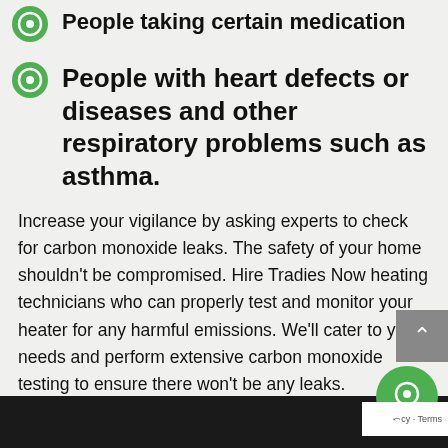People taking certain medication
People with heart defects or diseases and other respiratory problems such as asthma.
Increase your vigilance by asking experts to check for carbon monoxide leaks. The safety of your home shouldn't be compromised. Hire Tradies Now heating technicians who can properly test and monitor your heater for any harmful emissions. We'll cater to your needs and perform extensive carbon monoxide testing to ensure there won't be any leaks.